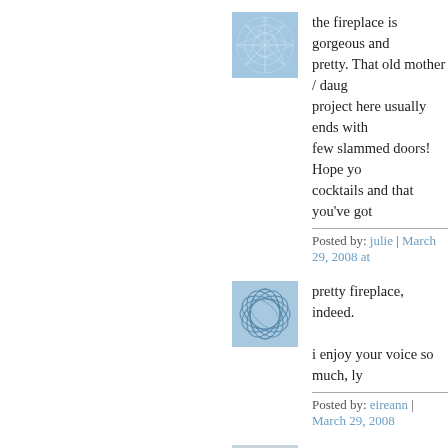[Figure (illustration): Blue abstract network/spiderweb avatar image]
the fireplace is gorgeous and pretty. That old mother / daug project here usually ends with few slammed doors! Hope yo cocktails and that you've got
Posted by: julie | March 29, 2008 at
[Figure (illustration): Blue abstract oval/leaf pattern avatar image]
pretty fireplace, indeed.

i enjoy your voice so much, ly
Posted by: eireann | March 29, 2008
[Figure (illustration): Gray abstract tangled lines avatar image]
those dysons do not like kitty future reference ;)
Posted by: London Southern Belle
[Figure (illustration): Orange/yellow abstract network avatar image]
I think that from your comme 'what dyson's don't like to do'